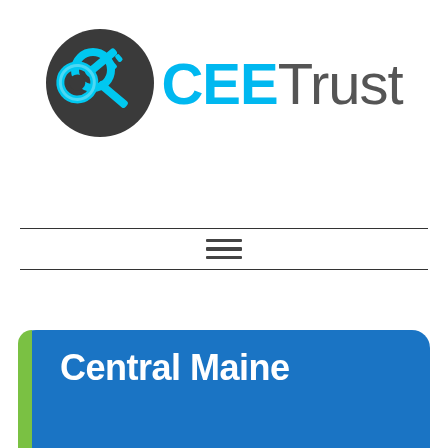[Figure (logo): CEE Trust logo with dark circular icon containing a cyan key graphic, followed by cyan bold text 'CEE' and light gray text 'Trust']
Central Maine